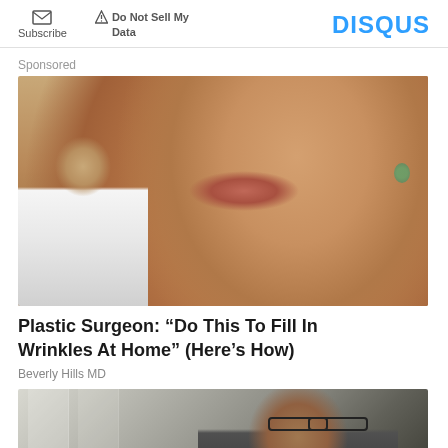Subscribe | Do Not Sell My Data | DISQUS
Sponsored
[Figure (photo): Close-up of a woman's face with a doctor in white coat appearing to inject her lip area]
Plastic Surgeon: “Do This To Fill In Wrinkles At Home” (Here’s How)
Beverly Hills MD
[Figure (photo): Man with glasses and brown hair in an indoor setting]